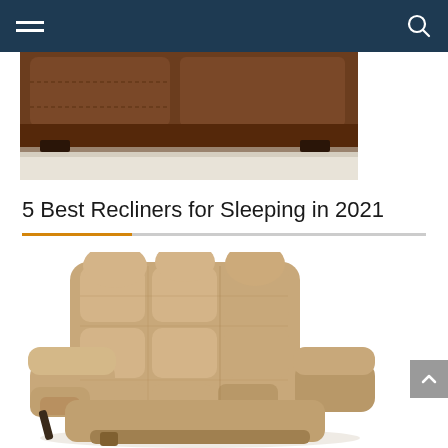Navigation bar with hamburger menu and search icon
[Figure (photo): Partial view of a dark brown leather recliner chair showing the lower portion and footrest area on a light carpet floor]
5 Best Recliners for Sleeping in 2021
[Figure (photo): A tan/camel colored fabric recliner chair with tufted cushioning shown from a front-side angle, featuring pillow armrests and reclining handle on the side]